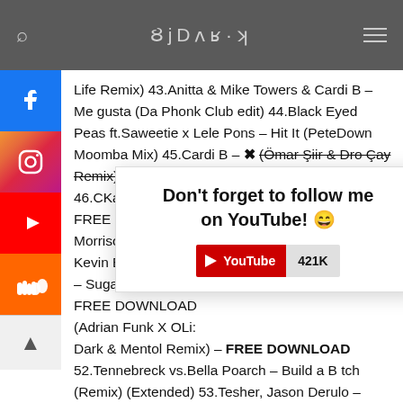DJ DARK
Life Remix) 43.Anitta & Mike Towers & Cardi B – Me gusta (Da Phonk Club edit) 44.Black Eyed Peas ft.Saweetie x Lele Pons – Hit It (PeteDown Moomba Mix) 45.Cardi B – ✗ (Ömar Şiir & Dro Çay Remix) 46.CKay – Love Nw FREE DOWNLOAD Morrison – Provide Kevin Bourcy – Iko – Sugar (feat. Anat FREE DOWNLOAD (Adrian Funk X OLi: Dark & Mentol Remix) – FREE DOWNLOAD 52.Tennebreck vs.Bella Poarch – Build a B tch (Remix) (Extended) 53.Tesher, Jason Derulo – Jalebi Baby (DallasK Remix) 54.Minelli – Rampampam (Dj Dark & Mentol Remix) FREE DOWNLOAD 55.BSHAR- Bu Hi
[Figure (infographic): Popup overlay with text 'Don't forget to follow me on YouTube! 😁' and a YouTube subscribe button showing 421K subscribers]